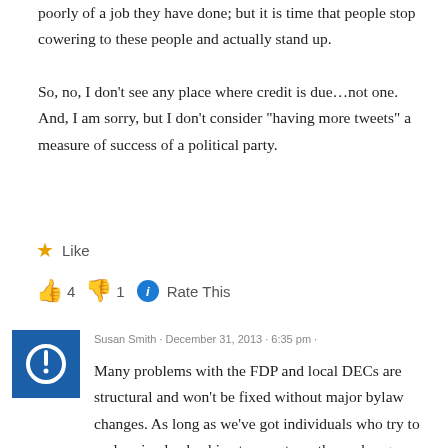poorly of a job they have done; but it is time that people stop cowering to these people and actually stand up.
So, no, I don't see any place where credit is due…not one. And, I am sorry, but I don't consider "having more tweets" a measure of success of a political party.
★ Like   👍 4  👎 1  ℹ Rate This
Susan Smith · December 31, 2013 · 6:35 pm ·
Many problems with the FDP and local DECs are structural and won't be fixed without major bylaw changes. As long as we've got individuals who try to undermine leadership at every turn, those changes can't occur. I've seen it now through three FDP administrations and I'm sure it goes further back than that. I would estimate that 75% of all actions taken are